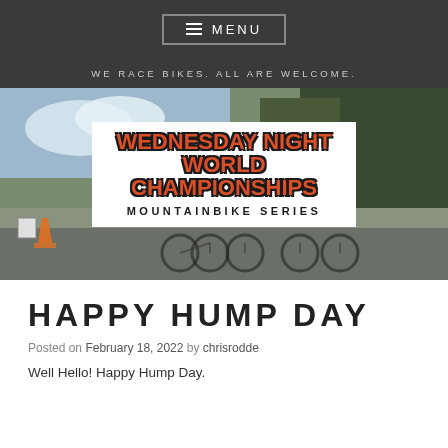≡ MENU
WE RACE BIKES. ALL ARE WELCOME.
[Figure (photo): Hero banner photo of mountain bikes lined up in a parking area with trees in the background. Overlaid with the Wednesday Night World Championships Mountainbike Series logo on a white background.]
HAPPY HUMP DAY
Posted on February 18, 2022  by chrisrodde
Well Hello! Happy Hump Day.